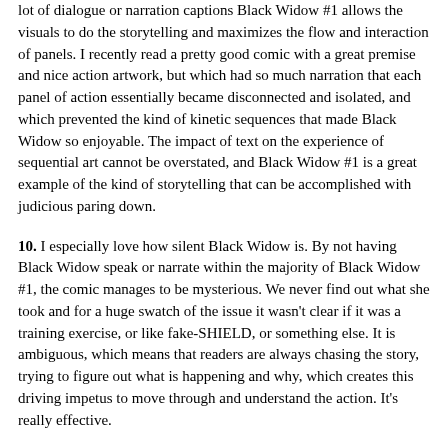lot of dialogue or narration captions Black Widow #1 allows the visuals to do the storytelling and maximizes the flow and interaction of panels. I recently read a pretty good comic with a great premise and nice action artwork, but which had so much narration that each panel of action essentially became disconnected and isolated, and which prevented the kind of kinetic sequences that made Black Widow so enjoyable. The impact of text on the experience of sequential art cannot be overstated, and Black Widow #1 is a great example of the kind of storytelling that can be accomplished with judicious paring down.
10. I especially love how silent Black Widow is. By not having Black Widow speak or narrate within the majority of Black Widow #1, the comic manages to be mysterious. We never find out what she took and for a huge swatch of the issue it wasn't clear if it was a training exercise, or like fake-SHIELD, or something else. It is ambiguous, which means that readers are always chasing the story, trying to figure out what is happening and why, which creates this driving impetus to move through and understand the action. It's really effective.